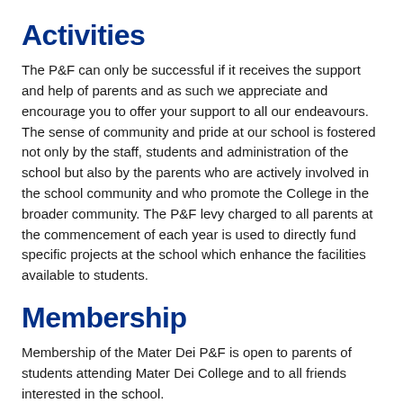Activities
The P&F can only be successful if it receives the support and help of parents and as such we appreciate and encourage you to offer your support to all our endeavours. The sense of community and pride at our school is fostered not only by the staff, students and administration of the school but also by the parents who are actively involved in the school community and who promote the College in the broader community. The P&F levy charged to all parents at the commencement of each year is used to directly fund specific projects at the school which enhance the facilities available to students.
Membership
Membership of the Mater Dei P&F is open to parents of students attending Mater Dei College and to all friends interested in the school.
2022 Parents and Friends